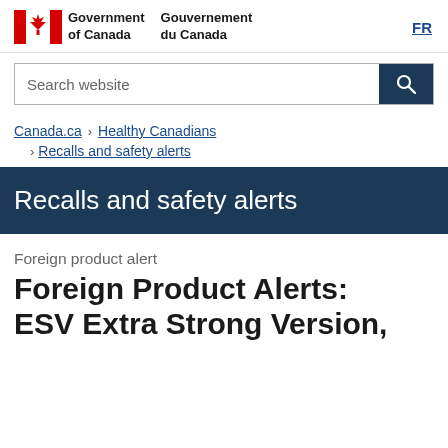Government of Canada | Gouvernement du Canada | FR
Search website
Canada.ca > Healthy Canadians > Recalls and safety alerts
Recalls and safety alerts
Foreign product alert
Foreign Product Alerts: ESV Extra Strong Version,